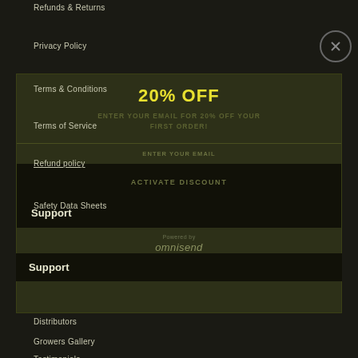Refunds & Returns
Privacy Policy
[Figure (screenshot): Email popup overlay showing '20% OFF' promotion with subtitle 'ENTER YOUR EMAIL FOR 20% OFF YOUR FIRST ORDER!', an email input field labeled 'ENTER YOUR EMAIL', an 'ACTIVATE DISCOUNT' button, and 'Powered by omnisend' at the bottom. A close (X) button appears in the top-right corner of the background page.]
Terms & Conditions
Terms of Service
Refund policy
Safety Data Sheets
Support
Distributors
Growers Gallery
Testimonials